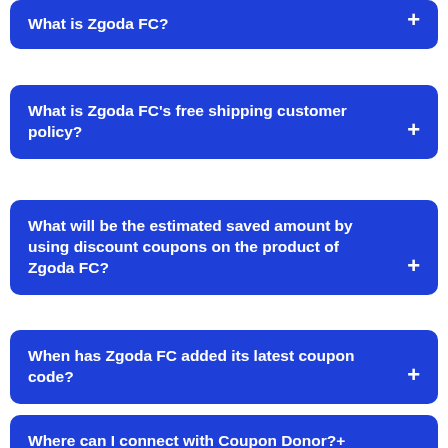What is Zgoda FC? +
What is Zgoda FC's free shipping customer policy? +
What will be the estimated saved amount by using discount coupons on the product of Zgoda FC? +
When has Zgoda FC added its latest coupon code? +
Where can I connect with Coupon Donor? +